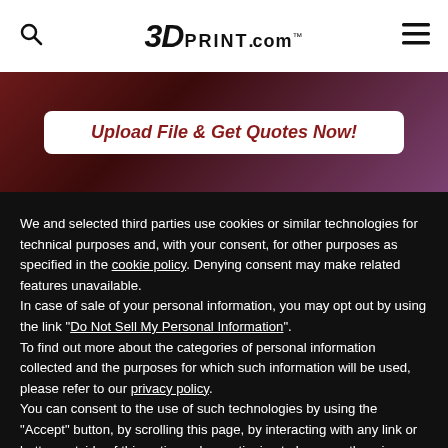3DPrint.com
[Figure (infographic): Upload File & Get Quotes Now! banner with dark red/purple gradient background and white rounded rectangle containing bold italic red text]
We and selected third parties use cookies or similar technologies for technical purposes and, with your consent, for other purposes as specified in the cookie policy. Denying consent may make related features unavailable.
In case of sale of your personal information, you may opt out by using the link "Do Not Sell My Personal Information".
To find out more about the categories of personal information collected and the purposes for which such information will be used, please refer to our privacy policy.
You can consent to the use of such technologies by using the "Accept" button, by scrolling this page, by interacting with any link or button outside of this notice or by continuing to browse otherwise.
Reject
Accept
Learn more and customize